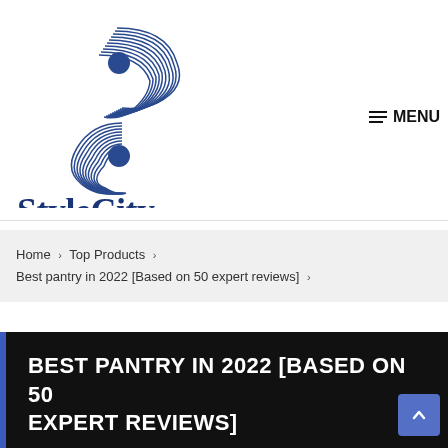[Figure (logo): StyleCity logo with stylized S letter mark in dark blue and 'StyleCity' text in bold dark blue below]
≡ MENU
Home › Top Products › Best pantry in 2022 [Based on 50 expert reviews] ›
BEST PANTRY IN 2022 [BASED ON 50 EXPERT REVIEWS]